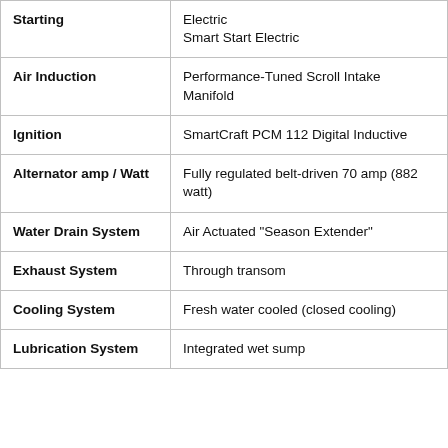| Feature | Description |
| --- | --- |
| Starting | Electric
Smart Start Electric |
| Air Induction | Performance-Tuned Scroll Intake Manifold |
| Ignition | SmartCraft PCM 112 Digital Inductive |
| Alternator amp / Watt | Fully regulated belt-driven 70 amp (882 watt) |
| Water Drain System | Air Actuated "Season Extender" |
| Exhaust System | Through transom |
| Cooling System | Fresh water cooled (closed cooling) |
| Lubrication System | Integrated wet sump |